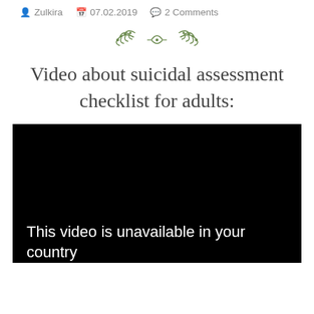Zulkira  07.02.2019  2 Comments
[Figure (illustration): Decorative floral/leaf divider ornament in olive green]
Video about suicidal assessment checklist for adults:
[Figure (screenshot): Black video player frame showing the message: This video is unavailable in your country]